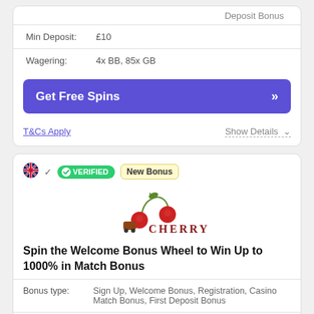Deposit Bonus
Min Deposit: £10
Wagering: 4x BB, 85x GB
Get Free Spins »
T&Cs Apply
Show Details
[Figure (logo): Cherry Casino logo with cherry fruit illustration and slot machine]
Spin the Welcome Bonus Wheel to Win Up to 1000% in Match Bonus
Bonus type: Sign Up, Welcome Bonus, Registration, Casino Match Bonus, First Deposit Bonus
Min Deposit: £10